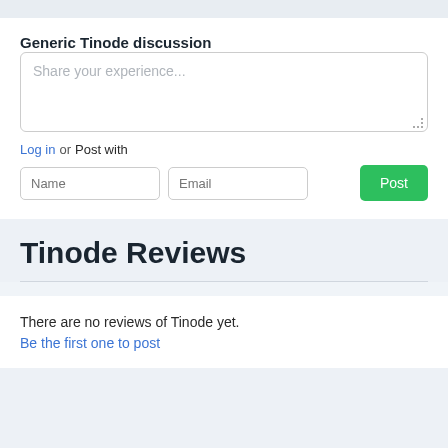Generic Tinode discussion
Share your experience...
Log in or Post with
Tinode Reviews
There are no reviews of Tinode yet.
Be the first one to post